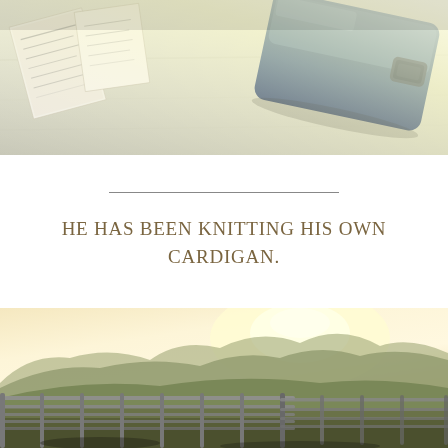[Figure (photo): Close-up photo of a desk or table surface with papers/labels on the left and a blue tool or case object on the right, shot from above at an angle with bright light.]
HE HAS BEEN KNITTING HIS OWN CARDIGAN.
[Figure (photo): Landscape photo of a countryside scene at golden hour or sunset, showing a metal farm gate/fence in the foreground with rolling hills and mountains in the background under a bright sky.]